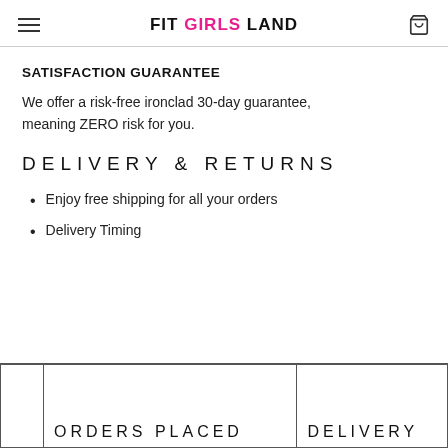FIT GIRLS LAND
SATISFACTION GUARANTEE
We offer a risk-free ironclad 30-day guarantee, meaning ZERO risk for you.
DELIVERY & RETURNS
Enjoy free shipping for all your orders
Delivery Timing
|  | ORDERS PLACED | DELIVERY |
| --- | --- | --- |